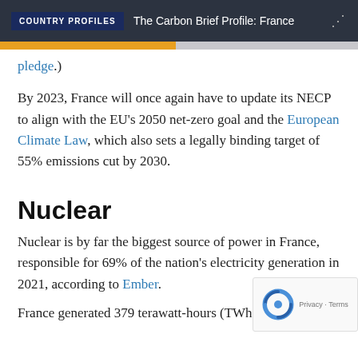COUNTRY PROFILES | The Carbon Brief Profile: France
pledge.)
By 2023, France will once again have to update its NECP to align with the EU's 2050 net-zero goal and the European Climate Law, which also sets a legally binding target of 55% emissions cut by 2030.
Nuclear
Nuclear is by far the biggest source of power in France, responsible for 69% of the nation's electricity generation in 2021, according to Ember.
France generated 379 terawatt-hours (TWh) of nuclear